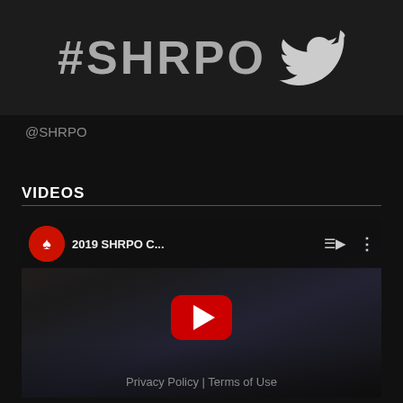#SHRPO
@SHRPO
VIDEOS
[Figure (screenshot): YouTube video thumbnail showing '2019 SHRPO C...' with a poker game scene, a red YouTube play button in the center, and a SHRPO logo icon in the top left of the video header bar.]
Privacy Policy | Terms of Use